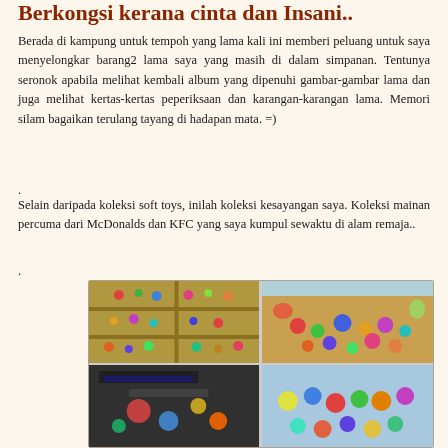Berkongsi kerana cinta dan Insani..
Berada di kampung untuk tempoh yang lama kali ini memberi peluang untuk saya menyelongkar barang2 lama saya yang masih di dalam simpanan. Tentunya seronok apabila melihat kembali album yang dipenuhi gambar-gambar lama dan juga melihat kertas-kertas peperiksaan dan karangan-karangan lama. Memori silam bagaikan terulang tayang di hadapan mata. =)
.
Selain daripada koleksi soft toys, inilah koleksi kesayangan saya. Koleksi mainan percuma dari McDonalds dan KFC yang saya kumpul sewaktu di alam remaja..
.
[Figure (photo): Four photos arranged in a 2x2 grid showing a toy collection: top-left shows toys arranged on a wooden shelf unit, top-right shows toys piled in a cardboard box, bottom-left shows more toys with dark items, bottom-right shows colorful small figurines.]